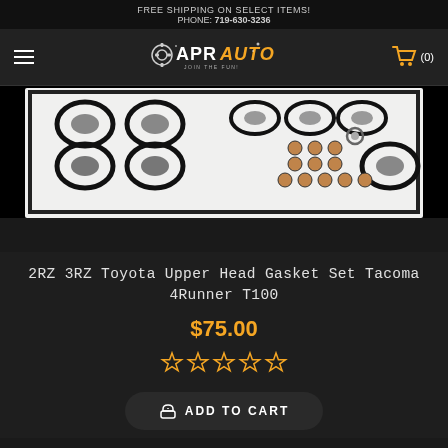FREE SHIPPING ON SELECT ITEMS!
PHONE: 719-630-3236
[Figure (photo): APR Auto logo with gear icon and shopping cart icon (0 items)]
[Figure (photo): 2RZ 3RZ Toyota Upper Head Gasket Set product photo showing gaskets, seals, and small parts on white background with black border]
2RZ 3RZ Toyota Upper Head Gasket Set Tacoma 4Runner T100
$75.00
[Figure (other): 5 star rating icons in yellow/orange]
ADD TO CART